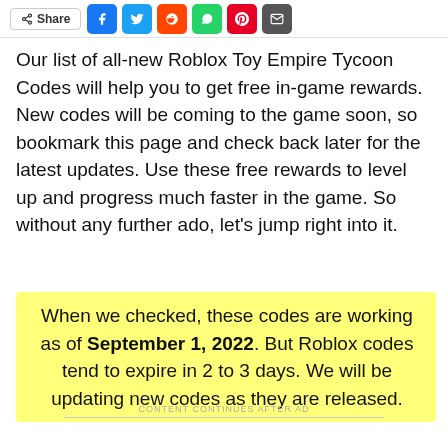[Figure (other): Social share bar with Share button and icons for Facebook, Twitter, Reddit, WhatsApp, Pinterest, and Email]
Our list of all-new Roblox Toy Empire Tycoon Codes will help you to get free in-game rewards. New codes will be coming to the game soon, so bookmark this page and check back later for the latest updates. Use these free rewards to level up and progress much faster in the game. So without any further ado, let's jump right into it.
When we checked, these codes are working as of September 1, 2022. But Roblox codes tend to expire in 2 to 3 days. We will be updating new codes as they are released.
CONTENT CONTINUES AFTER AD